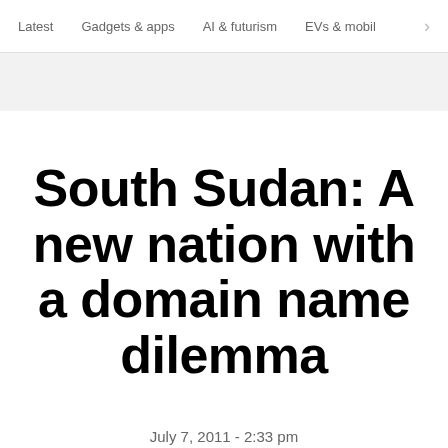Latest   Gadgets & apps   AI & futurism   EVs & mobil  >
South Sudan: A new nation with a domain name dilemma
July 7, 2011 - 2:33 pm